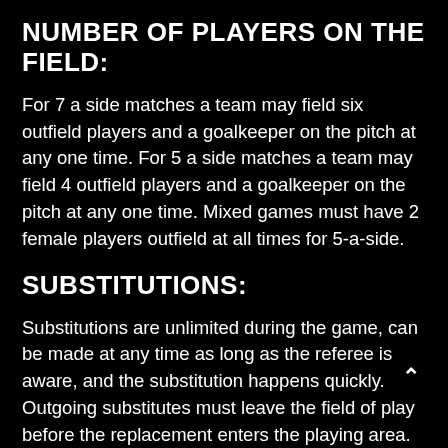NUMBER OF PLAYERS ON THE FIELD:
For 7 a side matches a team may field six outfield players and a goalkeeper on the pitch at any one time. For 5 a side matches a team may field 4 outfield players and a goalkeeper on the pitch at any one time. Mixed games must have 2 female players outfield at all times for 5-a-side.
SUBSTITUTIONS:
Substitutions are unlimited during the game, can be made at any time as long as the referee is aware, and the substitution happens quickly. Outgoing substitutes must leave the field of play before the replacement enters the playing area. Substitutes must stand outside the pitch